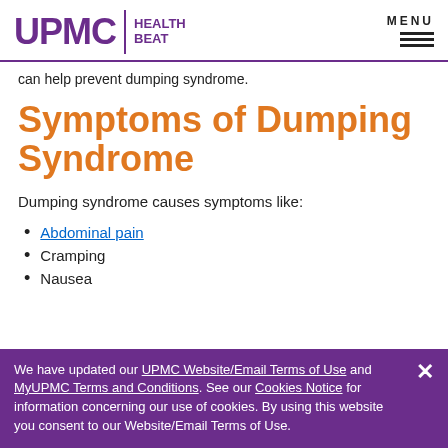UPMC | HEALTH BEAT
can help prevent dumping syndrome.
Symptoms of Dumping Syndrome
Dumping syndrome causes symptoms like:
Abdominal pain
Cramping
Nausea
We have updated our UPMC Website/Email Terms of Use and MyUPMC Terms and Conditions. See our Cookies Notice for information concerning our use of cookies. By using this website you consent to our Website/Email Terms of Use.